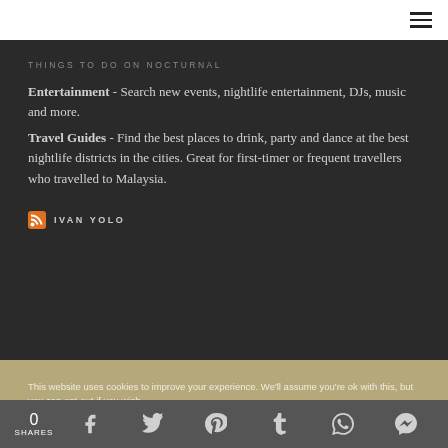THINGS TO DO ON NOCTURNAL
Entertainment - Search new events, nightlife entertainment, DJs, music and more. Travel Guides - Find the best places to drink, party and dance at the best nightlife districts in the cities. Great for first-timer or frequent travellers who travelled to Malaysia.
IVAN YOLO
This website uses cookies to improve your experience. We'll assume you're ok with this, but you can opt-out if you wish.
0 SHARES